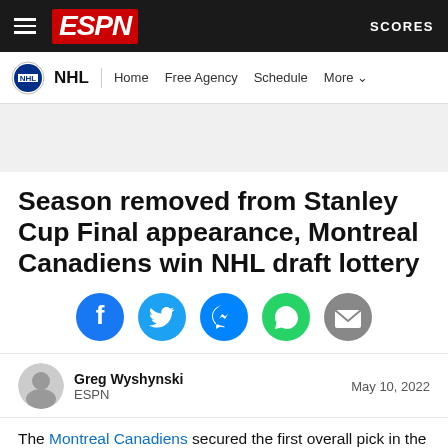ESPN | SCORES
NHL | Home | Free Agency | Schedule | More
Season removed from Stanley Cup Final appearance, Montreal Canadiens win NHL draft lottery
[Figure (infographic): Social sharing icons: Facebook, Twitter, Messenger, WhatsApp, Email]
Greg Wyshynski
ESPN
May 10, 2022
The Montreal Canadiens secured the first overall pick in the